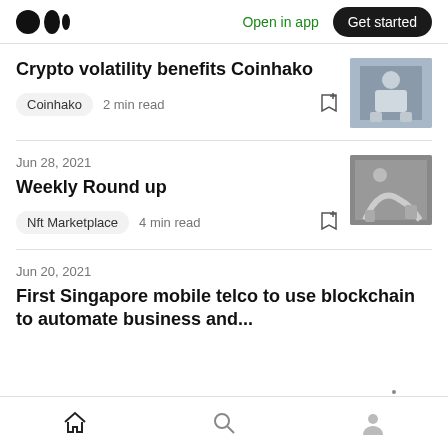Medium logo | Open in app | Get started
Crypto volatility benefits Coinhako
Coinhako  2 min read
Jun 28, 2021
Weekly Round up
Nft Marketplace  4 min read
Jun 20, 2021
First Singapore mobile telco to use blockchain to automate business and...
Home | Search | Profile